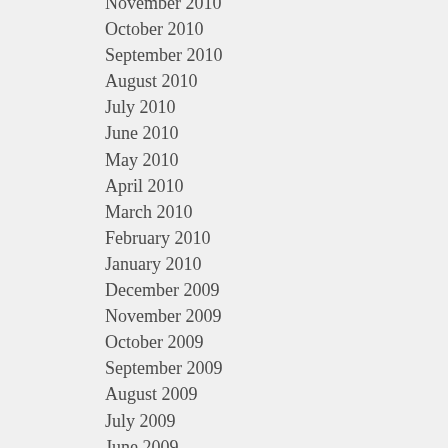November 2010
October 2010
September 2010
August 2010
July 2010
June 2010
May 2010
April 2010
March 2010
February 2010
January 2010
December 2009
November 2009
October 2009
September 2009
August 2009
July 2009
June 2009
May 2009
April 2009
March 2009